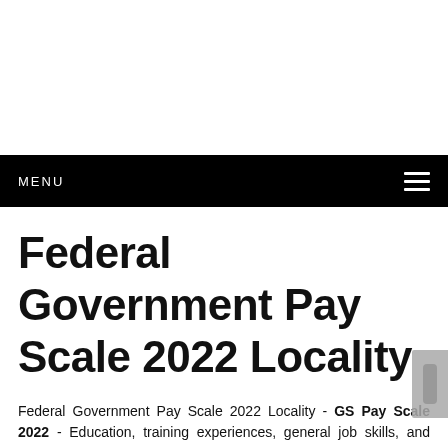MENU
Federal Government Pay Scale 2022 Locality
Federal Government Pay Scale 2022 Locality - GS Pay Scale 2022 - Education, training experiences, general job skills, and work experience that is specialized can all contribute to the GS grade. This is because the Office of Personnel